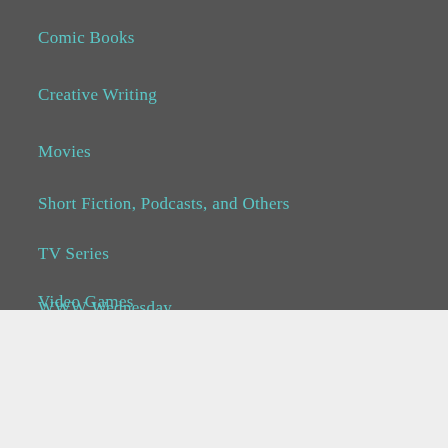Comic Books
Creative Writing
Movies
Short Fiction, Podcasts, and Others
TV Series
Video Games
WWW Wednesday
Advertisements
[Figure (screenshot): DuckDuckGo advertisement banner on orange background: 'Search, browse, and email with more privacy. All in One Free App' with phone showing DuckDuckGo logo]